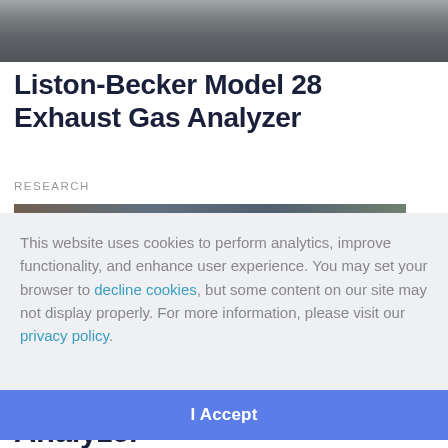[Figure (photo): Top photo showing mechanical components of gas analyzer equipment, metallic parts with connectors]
Liston-Becker Model 28 Exhaust Gas Analyzer
RESEARCH
[Figure (photo): Partial photo of lab or industrial equipment, partially obscured by cookie overlay]
This website uses cookies to perform analytics, improve functionality, and enhance user experience. You may set your browser to decline cookies, but some content on our site may not display properly. For more information, please visit our privacy policy.
I Accept
Analyzer